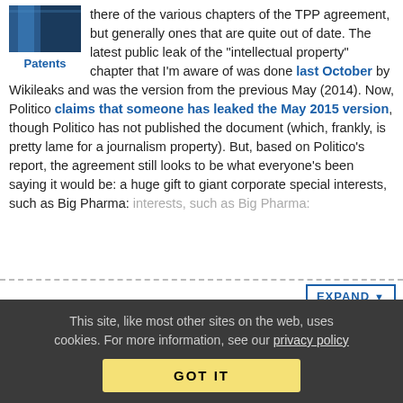[Figure (photo): Blue building facade with dark architectural element on the left side]
Patents
there of the various chapters of the TPP agreement, but generally ones that are quite out of date. The latest public leak of the "intellectual property" chapter that I'm aware of was done last October by Wikileaks and was the version from the previous May (2014). Now, Politico claims that someone has leaked the May 2015 version, though Politico has not published the document (which, frankly, is pretty lame for a journalism property). But, based on Politico's report, the agreement still looks to be what everyone's been saying it would be: a huge gift to giant corporate special interests, such as Big Pharma:
EXPAND
47 Comments
Developer Issues Bogus Takedowns
This site, like most other sites on the web, uses cookies. For more information, see our privacy policy
GOT IT